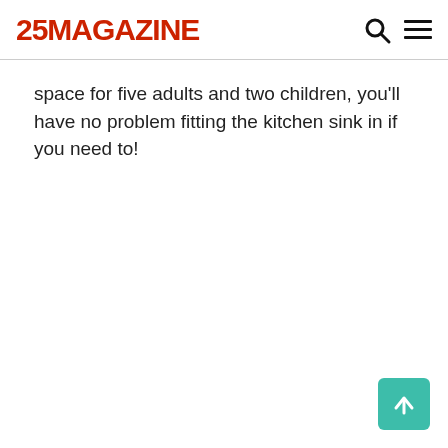25MAGAZINE
space for five adults and two children, you'll have no problem fitting the kitchen sink in if you need to!
[Figure (other): Scroll-to-top button with upward arrow icon, teal/green background]